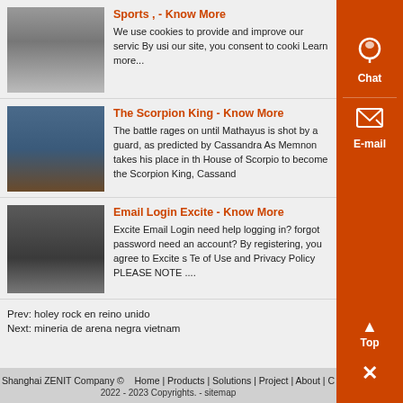Sports , - Know More
We use cookies to provide and improve our servic By usi our site, you consent to cooki Learn more...
[Figure (photo): Industrial machinery close-up photo]
The Scorpion King - Know More
The battle rages on until Mathayus is shot by a guard, as predicted by Cassandra As Memnon takes his place in th House of Scorpio to become the Scorpion King, Cassand
[Figure (photo): Industrial machinery or conveyor belt photo]
Email Login Excite - Know More
Excite Email Login need help logging in? forgot password need an account? By registering, you agree to Excite s Te of Use and Privacy Policy PLEASE NOTE ....
[Figure (photo): Heavy machinery or mining equipment photo]
Prev: holey rock en reino unido
Next: mineria de arena negra vietnam
Shanghai ZENIT Company ©   Home | Products | Solutions | Project | About | C 2022 - 2023 Copyrights. - sitemap